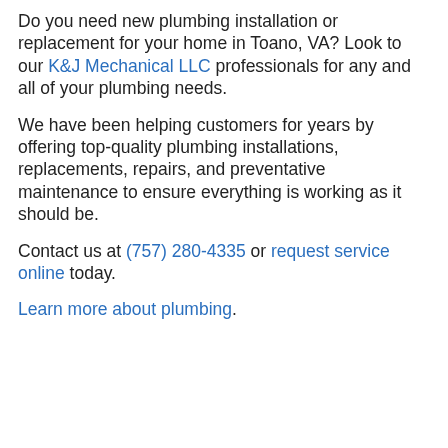Do you need new plumbing installation or replacement for your home in Toano, VA? Look to our K&J Mechanical LLC professionals for any and all of your plumbing needs.
We have been helping customers for years by offering top-quality plumbing installations, replacements, repairs, and preventative maintenance to ensure everything is working as it should be.
Contact us at (757) 280-4335 or request service online today.
Learn more about plumbing.